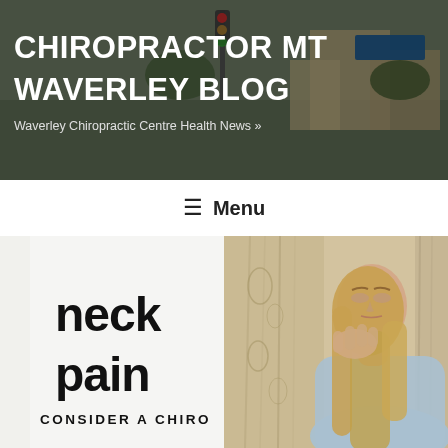CHIROPRACTOR MT WAVERLEY BLOG
Waverley Chiropractic Centre Health News
≡ Menu
[Figure (photo): Composite image showing 'neck pain - CONSIDER A CHIRO' text on white background (left half) and a woman holding her neck in pain next to a curtain (right half)]